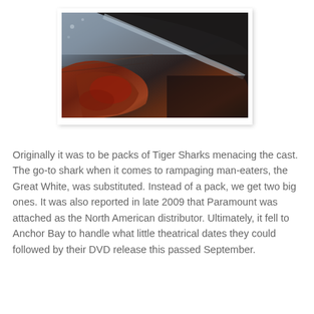[Figure (photo): Close-up photograph of a shark's open mouth showing teeth, jaw and bloody flesh, dark moody cinematic lighting]
Originally it was to be packs of Tiger Sharks menacing the cast. The go-to shark when it comes to rampaging man-eaters, the Great White, was substituted. Instead of a pack, we get two big ones. It was also reported in late 2009 that Paramount was attached as the North American distributor. Ultimately, it fell to Anchor Bay to handle what little theatrical dates they could followed by their DVD release this passed September.